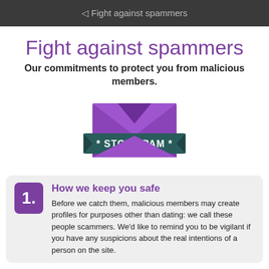◁ Fight against spammers
Fight against spammers
Our commitments to protect you from malicious members.
[Figure (illustration): A purple envelope with a dark teal ribbon banner across the middle reading '* STOP SPAM *' in white bold text. The envelope flap is open showing a V-shape at the top.]
How we keep you safe
Before we catch them, malicious members may create profiles for purposes other than dating: we call these people scammers. We'd like to remind you to be vigilant if you have any suspicions about the real intentions of a person on the site.